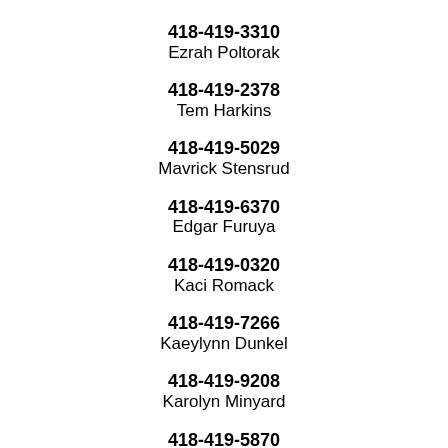418-419-3310
Ezrah Poltorak
418-419-2378
Tem Harkins
418-419-5029
Mavrick Stensrud
418-419-6370
Edgar Furuya
418-419-0320
Kaci Romack
418-419-7266
Kaeylynn Dunkel
418-419-9208
Karolyn Minyard
418-419-5870
Saulsbury Solheim
418-419-6039